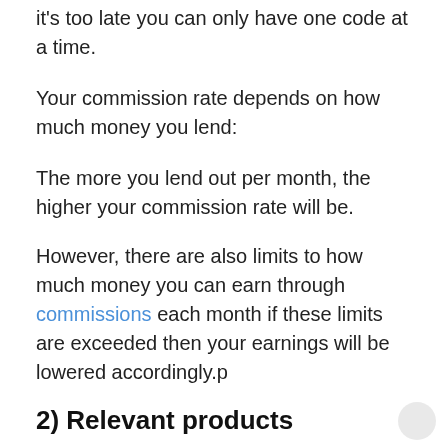it's too late you can only have one code at a time.
Your commission rate depends on how much money you lend:
The more you lend out per month, the higher your commission rate will be.
However, there are also limits to how much money you can earn through commissions each month if these limits are exceeded then your earnings will be lowered accordingly.p
2) Relevant products
Gtbank keeps their basic account fee at N50,000 yearly.